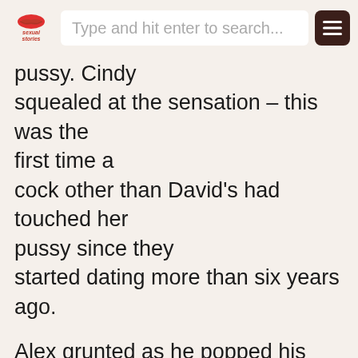Type and hit enter to search...
pussy. Cindy squealed at the sensation – this was the first time a cock other than David's had touched her pussy since they started dating more than six years ago.

Alex grunted as he popped his erection into Cindy's tiny, slick pussy. In response, the young woman squealed